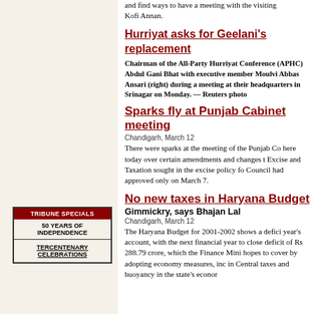and find ways to have a meeting with the visiting Kofi Annan.
Hurriyat asks for Geelani's replacement
Chairman of the All-Party Hurriyat Conference (APHC) Abdul Gani Bhat with executive member Moulvi Abbas Ansari (right) during a meeting at their headquarters in Srinagar on Monday. — Reuters photo
Sparks fly at Punjab Cabinet meeting
Chandigarh, March 12
There were sparks at the meeting of the Punjab Co here today over certain amendments and changes t Excise and Taxation sought in the excise policy fo Council had approved only on March 7.
No new taxes in Haryana Budget
Gimmickry, says Bhajan Lal
Chandigarh, March 12
The Haryana Budget for 2001-2002 shows a defici year's account, with the next financial year to close deficit of Rs 288.79 crore, which the Finance Mini hopes to cover by adopting economy measures, inc in Central taxes and buoyancy in the state's econor
| TRIBUNE SPECIALS |
| 50 YEARS OF INDEPENDENCE |
| TERCENTENARY CELEBRATIONS |